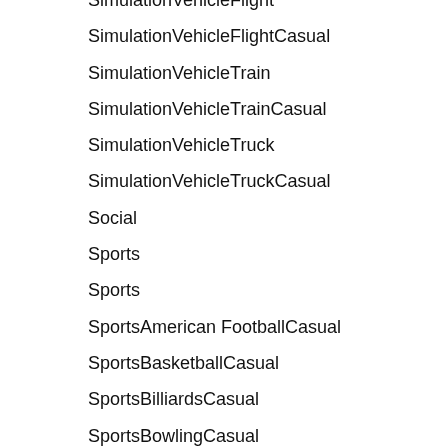SimulationVehicleFlight
SimulationVehicleFlightCasual
SimulationVehicleTrain
SimulationVehicleTrainCasual
SimulationVehicleTruck
SimulationVehicleTruckCasual
Social
Sports
Sports
SportsAmerican FootballCasual
SportsBasketballCasual
SportsBilliardsCasual
SportsBowlingCasual
SportsCasual
SportsCoachingCasual